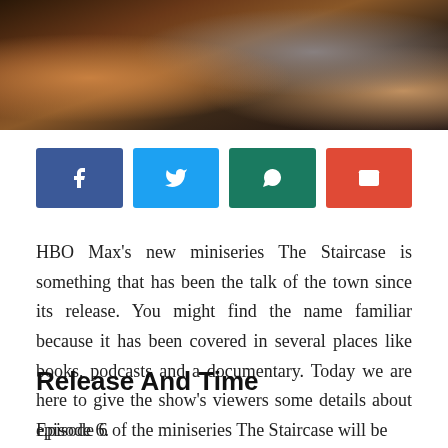[Figure (photo): Dark moody photo of people in formal attire, appearing to be a scene from The Staircase miniseries]
[Figure (infographic): Social media share buttons row: Facebook (dark blue), Twitter (light blue), WhatsApp (teal/green), Email (red)]
HBO Max’s new miniseries The Staircase is something that has been the talk of the town since its release. You might find the name familiar because it has been covered in several places like books, podcasts and a documentary. Today we are here to give the show’s viewers some details about episode 6.
Release And Time
Episode 6 of the miniseries The Staircase will be released on May 26, 2022; at 3:00 am EST on HBO